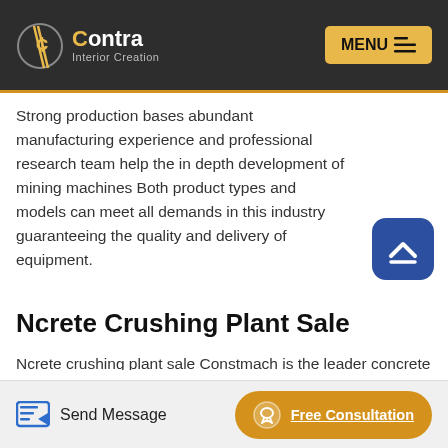[Figure (logo): Contra Interior Creation logo with stylized C coin icon and text]
MENU
Strong production bases abundant manufacturing experience and professional research team help the in depth development of mining machines Both product types and models can meet all demands in this industry guaranteeing the quality and delivery of equipment.
Ncrete Crushing Plant Sale
Ncrete crushing plant sale Constmach is the leader concrete batching plant crusher and concrete block machine manufacturer of turkey since its foundation cement silos sand Quarry Crushing Plant For Sale Aimix Crusher Quarry Jaw Crushing Plant For Sale Aimix Quarry jaw crusher plant
Send Message   Free Consultation